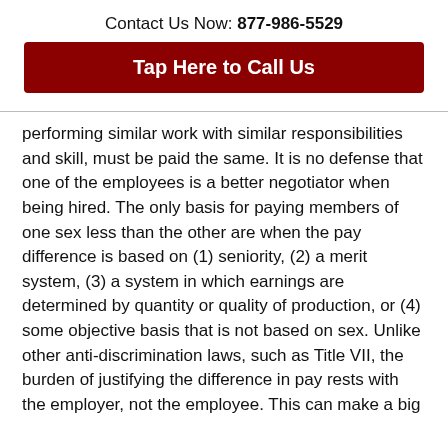Contact Us Now: 877-986-5529
Tap Here to Call Us
performing similar work with similar responsibilities and skill, must be paid the same. It is no defense that one of the employees is a better negotiator when being hired. The only basis for paying members of one sex less than the other are when the pay difference is based on (1) seniority, (2) a merit system, (3) a system in which earnings are determined by quantity or quality of production, or (4) some objective basis that is not based on sex. Unlike other anti-discrimination laws, such as Title VII, the burden of justifying the difference in pay rests with the employer, not the employee. This can make a big